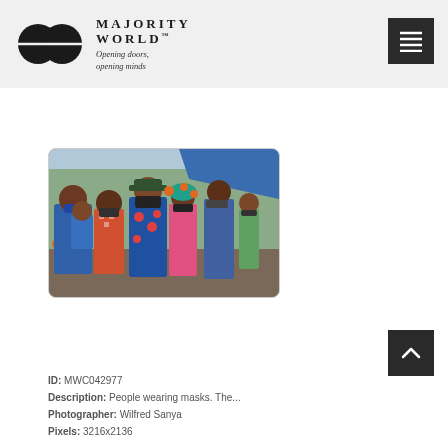MAJORITY WORLD™ — Opening doors, opening minds
[Figure (photo): Group of people wearing face masks outdoors at what appears to be a busy market or street scene. Women in colorful dresses are prominent in the foreground.]
ID: MWC042977
Description: People wearing masks. The...
Photographer: Wilfred Sanya
Pixels: 3216x2136